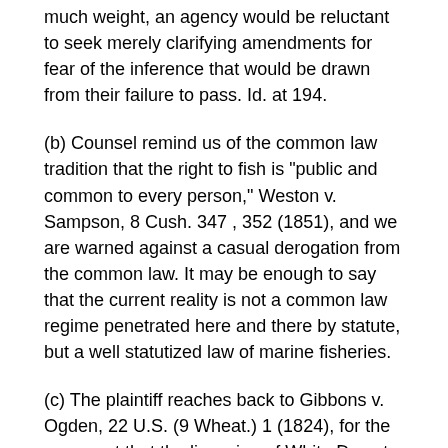much weight, an agency would be reluctant to seek merely clarifying amendments for fear of the inference that would be drawn from their failure to pass. Id. at 194.
(b) Counsel remind us of the common law tradition that the right to fish is "public and common to every person," Weston v. Sampson, 8 Cush. 347 , 352 (1851), and we are warned against a casual derogation from the common law. It may be enough to say that the current reality is not a common law regime penetrated here and there by statute, but a well statutized law of marine fisheries.
(c) The plaintiff reaches back to Gibbons v. Ogden, 22 U.S. (9 Wheat.) 1 (1824), for the argument that the licensing of White Dove to engage "in the coasting